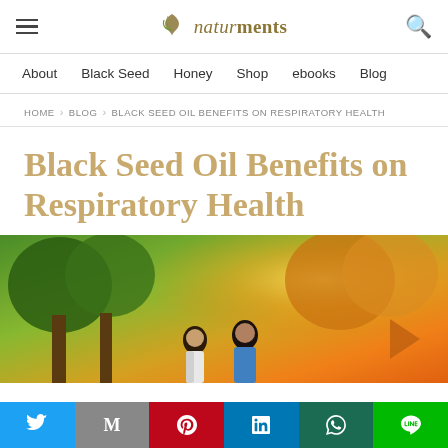naturments — site header with navigation: About, Black Seed, Honey, Shop, ebooks, Blog
HOME > BLOG > BLACK SEED OIL BENEFITS ON RESPIRATORY HEALTH
Black Seed Oil Benefits on Respiratory Health
[Figure (photo): Outdoor scene with a man and woman exercising in a sun-drenched park with green trees and warm golden light.]